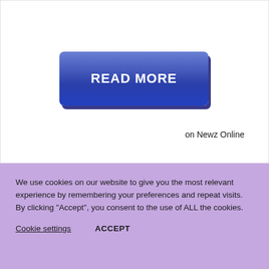[Figure (other): A blue button labeled READ MORE with gradient and shadow effect]
on Newz Online
We use cookies on our website to give you the most relevant experience by remembering your preferences and repeat visits. By clicking “Accept”, you consent to the use of ALL the cookies.
Cookie settings
ACCEPT